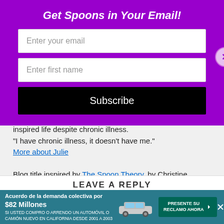Get Spoons in Your Email!
Enter your email
Enter first name
Subscribe
inspired life despite chronic illness.
"I have chronic illness, it doesn't have me."
More about Julie
Blog title inspired by The Spoon Theory, by Christine Miserandino, an excellent explanation of what it's like to live with invisible illness.
LEAVE A REPLY
Acuerdo de la demanda colectiva por $82 Millones SI USTED COMPRO O ARRENDO UN AUTOMÓVIL O CAMIÓN NUEVO EN CALIFORNIA DESDE 2001 A 2003